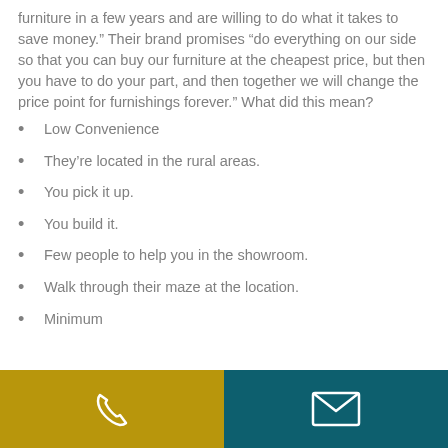furniture in a few years and are willing to do what it takes to save money.” Their brand promises “do everything on our side so that you can buy our furniture at the cheapest price, but then you have to do your part, and then together we will change the price point for furnishings forever.” What did this mean?
Low Convenience
They’re located in the rural areas.
You pick it up.
You build it.
Few people to help you in the showroom.
Walk through their maze at the location.
Minimum
[Figure (infographic): Footer bar with two sections: left gold/yellow section with a white phone icon, right teal/dark cyan section with a white envelope/mail icon.]